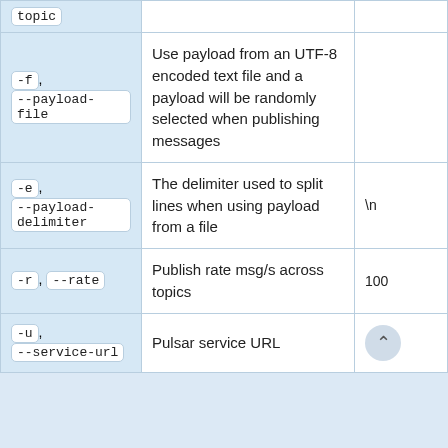| Flag | Description | Default |
| --- | --- | --- |
| topic |  |  |
| -f, --payload-file | Use payload from an UTF-8 encoded text file and a payload will be randomly selected when publishing messages |  |
| -e, --payload-delimiter | The delimiter used to split lines when using payload from a file | \n |
| -r, --rate | Publish rate msg/s across topics | 100 |
| -u, --service-url | Pulsar service URL |  |